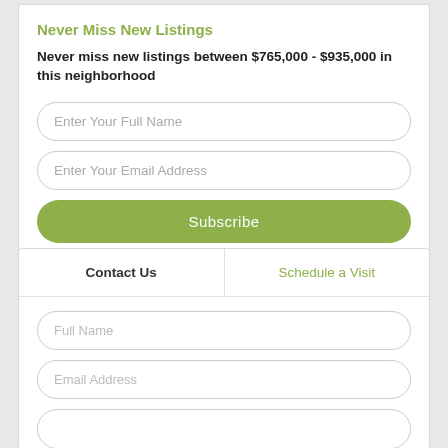Never Miss New Listings
Never miss new listings between $765,000 - $935,000 in this neighborhood
Enter Your Full Name
Enter Your Email Address
Subscribe
We will never spam you or sell your details. You can unsubscribe whenever you like.
Contact Us
Schedule a Visit
Full Name
Email Address